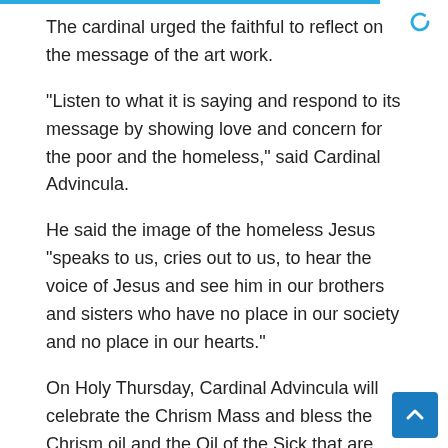The cardinal urged the faithful to reflect on the message of the art work.
“Listen to what it is saying and respond to its message by showing love and concern for the poor and the homeless,” said Cardinal Advincula.
He said the image of the homeless Jesus “speaks to us, cries out to us, to hear the voice of Jesus and see him in our brothers and sisters who have no place in our society and no place in our hearts.”
On Holy Thursday, Cardinal Advincula will celebrate the Chrism Mass and bless the Chrism oil and the Oil of the Sick that are used in the sacraments of the Church at the Manila Cathedral at 7 a.m.